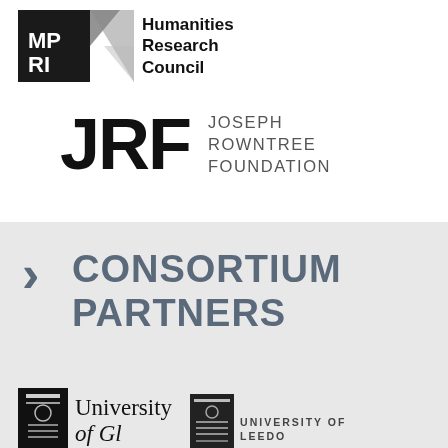[Figure (logo): AHRC Arts and Humanities Research Council logo with black square containing MPRI letters and grey triangles, followed by text 'Humanities Research Council']
[Figure (logo): JRF Joseph Rowntree Foundation logo with large bold JRF letters and stacked text 'JOSEPH ROWNTREE FOUNDATION']
CONSORTIUM PARTNERS
[Figure (logo): University of Glasgow crest logo with serif text 'University of Gl...']
[Figure (logo): University of Leeds crest logo with text 'UNIVERSITY OF LEEDS']